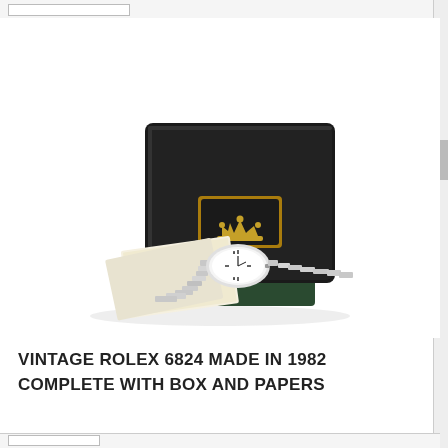www.kalmarantiques.com.au
[Figure (photo): Vintage Rolex 6824 watch with original black leather box featuring gold Rolex crown logo, watch resting on green base with accompanying papers/documents]
VINTAGE ROLEX 6824 MADE IN 1982 COMPLETE WITH BOX AND PAPERS